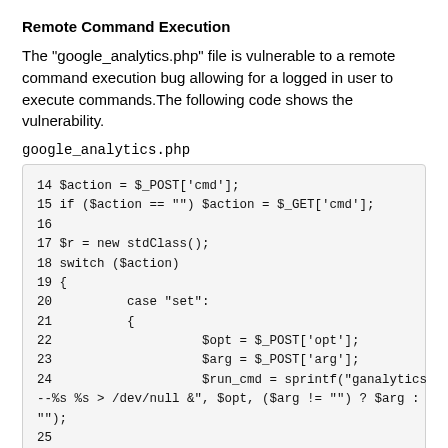Remote Command Execution
The "google_analytics.php" file is vulnerable to a remote command execution bug allowing for a logged in user to execute commands. The following code shows the vulnerability.
google_analytics.php
[Figure (screenshot): Code snippet showing PHP vulnerability lines 14-26, including $action = $_POST['cmd'], if statement, switch on $action, case "set" block with $opt, $arg, $run_cmd using sprintf and system() call.]
In the above, the posted "cmd" value is put into the local variable "$action", this value is used to control the path of the code. If the "$cmd" variable is set to "set", the code on lines 22-26 is used. On line 22, the post variable "opt" is stored into the local variable "$opt". The same is done on line 23 for